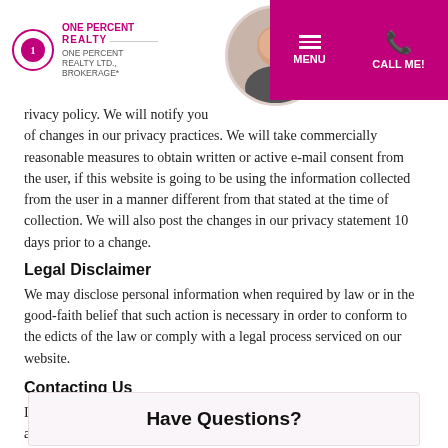[Figure (logo): One Percent Realty Ltd. Brokerage logo with agent photo and navigation menu (MENU, CALL ME!) on magenta header bar]
privacy policy. We will notify you of changes in our privacy practices. We will take commercially reasonable measures to obtain written or active e-mail consent from the user, if this website is going to be using the information collected from the user in a manner different from that stated at the time of collection. We will also post the changes in our privacy statement 10 days prior to a change.
Legal Disclaimer
We may disclose personal information when required by law or in the good-faith belief that such action is necessary in order to conform to the edicts of the law or comply with a legal process serviced on our website.
Contacting Us
If you have any questions regarding our privacy policy please send us an Email(Click Here) and we will be pleased to assist.
Last Edited on 2022-08-18
Have Questions?